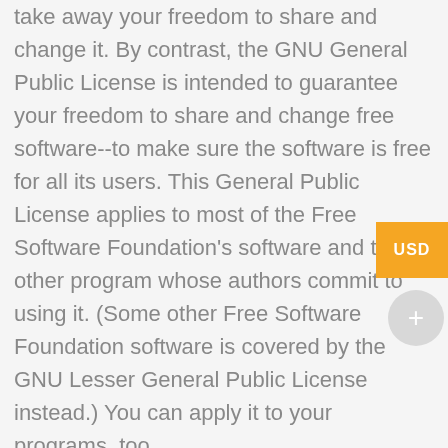take away your freedom to share and change it. By contrast, the GNU General Public License is intended to guarantee your freedom to share and change free software--to make sure the software is free for all its users. This General Public License applies to most of the Free Software Foundation's software and to any other program whose authors commit to using it. (Some other Free Software Foundation software is covered by the GNU Lesser General Public License instead.) You can apply it to your programs, too.
When we speak of free software, we are referring to freedom, not price. Our General Public Licenses are designed to make sure that you have the freedom to distribute copies of free software (and charge for this service if